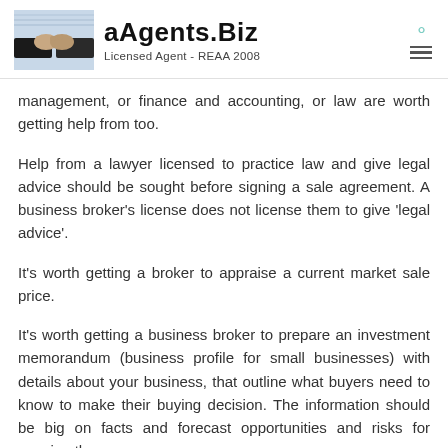aAgents.Biz — Licensed Agent - REAA 2008
management, or finance and accounting, or law are worth getting help from too.
Help from a lawyer licensed to practice law and give legal advice should be sought before signing a sale agreement. A business broker's license does not license them to give 'legal advice'.
It's worth getting a broker to appraise a current market sale price.
It's worth getting a business broker to prepare an investment memorandum (business profile for small businesses) with details about your business, that outline what buyers need to know to make their buying decision. The information should be big on facts and forecast opportunities and risks for growing the